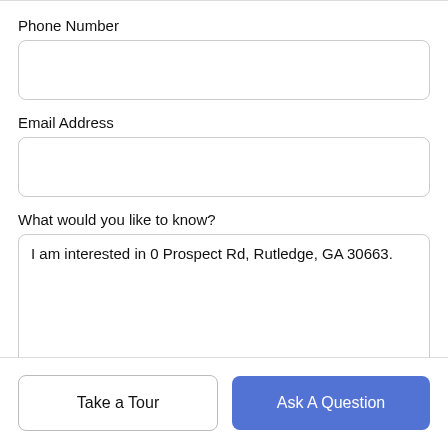Phone Number
[Figure (other): Empty phone number input field with rounded border]
Email Address
[Figure (other): Empty email address input field with rounded border]
What would you like to know?
[Figure (other): Textarea with pre-filled text: I am interested in 0 Prospect Rd, Rutledge, GA 30663.]
Take a Tour
Ask A Question